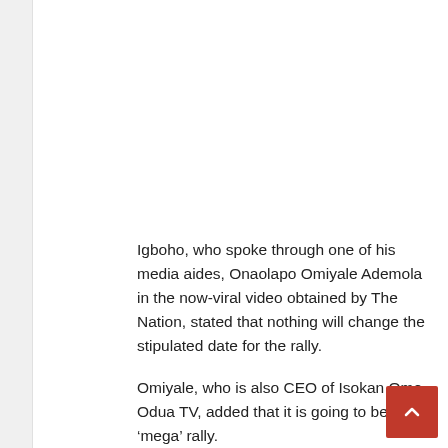Igboho, who spoke through one of his media aides, Onaolapo Omiyale Ademola in the now-viral video obtained by The Nation, stated that nothing will change the stipulated date for the rally.
Omiyale, who is also CEO of Isokan Omo Odua TV, added that it is going to be a ‘mega’ rally.